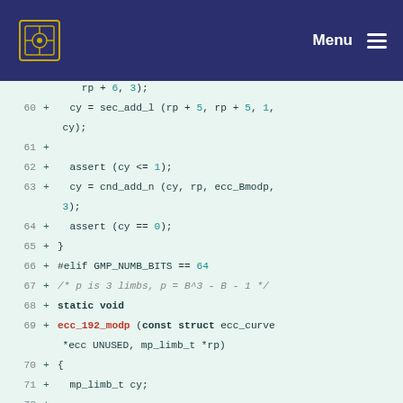Menu
[Figure (screenshot): Code diff viewer showing C source code lines 60-74 with line numbers, plus signs for additions, syntax highlighting for keywords and numeric literals. Background is light mint green.]